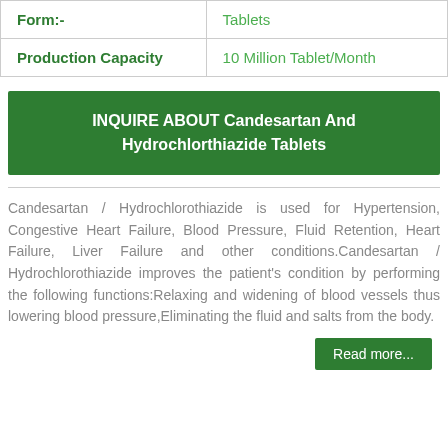|  |  |
| --- | --- |
| Form:- | Tablets |
| Production Capacity | 10 Million Tablet/Month |
INQUIRE ABOUT Candesartan And Hydrochlorthiazide Tablets
Candesartan / Hydrochlorothiazide is used for Hypertension, Congestive Heart Failure, Blood Pressure, Fluid Retention, Heart Failure, Liver Failure and other conditions.Candesartan / Hydrochlorothiazide improves the patient's condition by performing the following functions:Relaxing and widening of blood vessels thus lowering blood pressure,Eliminating the fluid and salts from the body.
Read more...